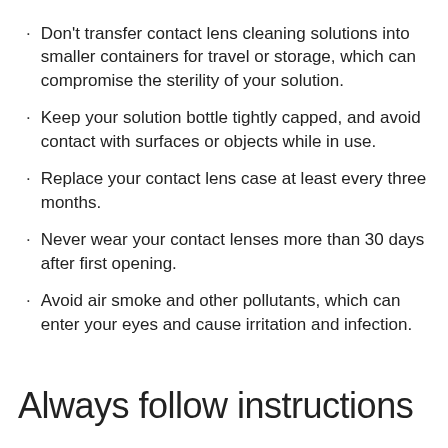Don't transfer contact lens cleaning solutions into smaller containers for travel or storage, which can compromise the sterility of your solution.
Keep your solution bottle tightly capped, and avoid contact with surfaces or objects while in use.
Replace your contact lens case at least every three months.
Never wear your contact lenses more than 30 days after first opening.
Avoid air smoke and other pollutants, which can enter your eyes and cause irritation and infection.
Always follow instructions